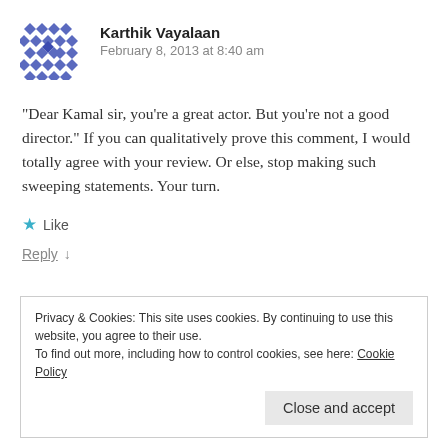[Figure (illustration): Avatar icon with blue/indigo geometric diamond/cross pattern]
Karthik Vayalaan
February 8, 2013 at 8:40 am
“Dear Kamal sir, you’re a great actor. But you’re not a good director.” If you can qualitatively prove this comment, I would totally agree with your review. Or else, stop making such sweeping statements. Your turn.
★ Like
Reply ↓
Privacy & Cookies: This site uses cookies. By continuing to use this website, you agree to their use.
To find out more, including how to control cookies, see here: Cookie Policy
Close and accept